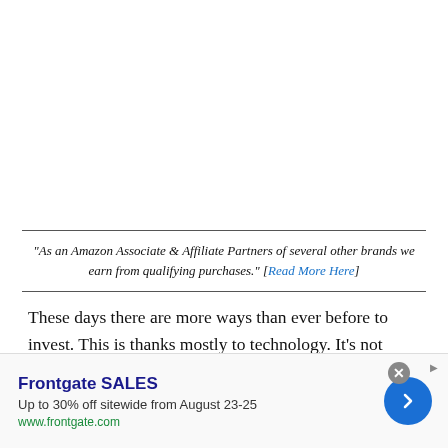"As an Amazon Associate & Affiliate Partners of several other brands we earn from qualifying purchases." [Read More Here]
These days there are more ways than ever before to invest. This is thanks mostly to technology. It's not merely the fact that the internet exists and that we can access it in more
[Figure (screenshot): Advertisement banner for Frontgate SALES showing 'Up to 30% off sitewide from August 23-25' at www.frontgate.com with a blue circular arrow button and close button.]